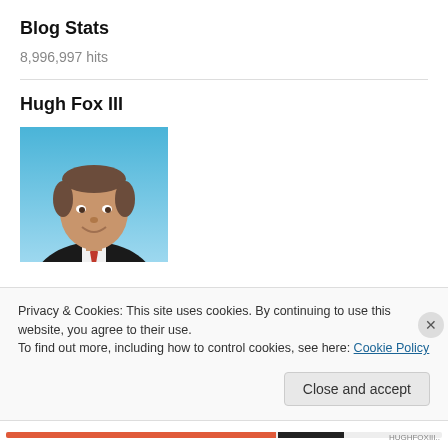Blog Stats
8,996,997 hits
Hugh Fox III
[Figure (photo): Headshot photo of a middle-aged man in a dark suit and red tie against a light blue background]
Privacy & Cookies: This site uses cookies. By continuing to use this website, you agree to their use.
To find out more, including how to control cookies, see here: Cookie Policy
Close and accept